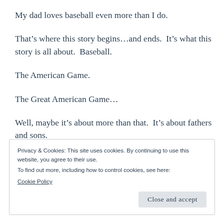My dad loves baseball even more than I do.
That’s where this story begins…and ends.  It’s what this story is all about.  Baseball.
The American Game.
The Great American Game…
Well, maybe it’s about more than that.  It’s about fathers and sons.
Privacy & Cookies: This site uses cookies. By continuing to use this website, you agree to their use.
To find out more, including how to control cookies, see here:
Cookie Policy
Close and accept